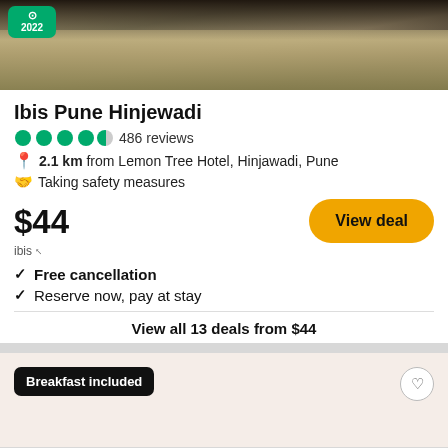[Figure (photo): Hotel building exterior photo with TripAdvisor 2022 badge in top-left corner]
Ibis Pune Hinjewadi
4.5 stars · 486 reviews
2.1 km from Lemon Tree Hotel, Hinjawadi, Pune
Taking safety measures
$44
ibis ↗
View deal
✓ Free cancellation
✓ Reserve now, pay at stay
View all 13 deals from $44
Breakfast included
Hotels.com ↗
$63
View deal